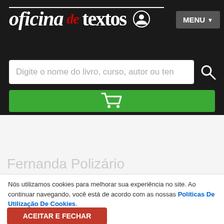[Figure (logo): Oficina de Textos logo with user icon and MENU button on dark background]
[Figure (screenshot): Search bar with placeholder text: Digite o nome do livro, curso, autor ou ten]
[Figure (screenshot): Green shopping cart button bar]
Fernanda Polizário
Nós utilizamos cookies para melhorar sua experiência no site. Ao continuar navegando, você está de acordo com as nossas Políticas De Utilização De Cookies.
ACEITAR E FECHAR